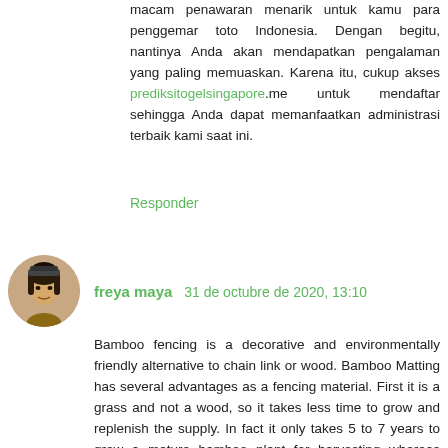macam penawaran menarik untuk kamu para penggemar toto Indonesia. Dengan begitu, nantinya Anda akan mendapatkan pengalaman yang paling memuaskan. Karena itu, cukup akses prediksitogelsingapore.me untuk mendaftar sehingga Anda dapat memanfaatkan administrasi terbaik kami saat ini.
Responder
freya maya  31 de octubre de 2020, 13:10
Bamboo fencing is a decorative and environmentally friendly alternative to chain link or wood. Bamboo Matting has several advantages as a fencing material. First it is a grass and not a wood, so it takes less time to grow and replenish the supply. In fact it only takes 5 to 7 years to grow a mature bamboo plant for harvesting whereas wood takes 50 to 100 years. The second advantage of using bamboo as your fencing material is that it is strong and durable. Finally Bamboo Torches looks great.
Bamboo fencing can be used for several purposes. First you can use it to create a privacy fence that not only keeps